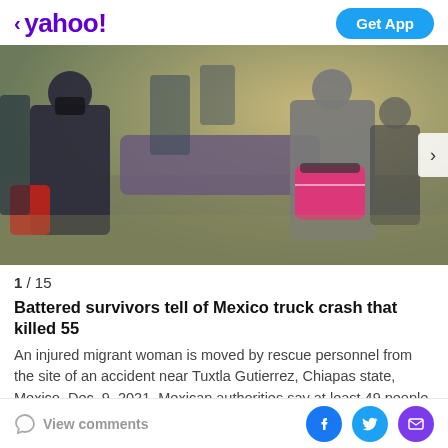< yahoo!   Get App
[Figure (photo): Rescue personnel carrying an injured migrant woman on a stretcher at the site of a truck accident near Tuxtla Gutierrez, Chiapas state, Mexico. Multiple workers in grey uniforms helping a victim with a pink medical bag visible.]
1 / 15
Battered survivors tell of Mexico truck crash that killed 55
An injured migrant woman is moved by rescue personnel from the site of an accident near Tuxtla Gutierrez, Chiapas state, Mexico, Dec. 9, 2021. Mexican authorities say at least 49 people
View comments